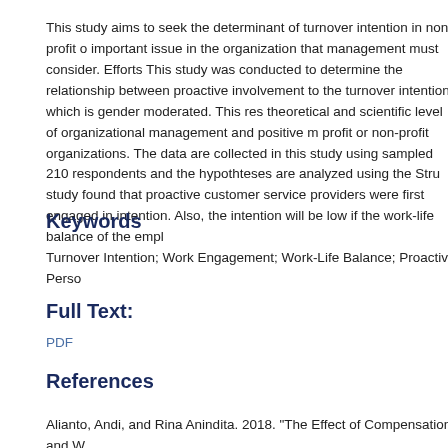This study aims to seek the determinant of turnover intention in non profit o... important issue in the organization that management must consider. Efforts... This study was conducted to determine the relationship between proactive... involvement to the turnover intention, which is gender moderated. This res... theoretical and scientific level of organizational management and positive m... profit or non-profit organizations. The data are collected in this study using... sampled 210 respondents and the hypothteses are analyzed using the Stru... study found that proactive customer service providers were first engaged i... intention. Also, the intention will be low if the work-life balance of the empl...
Keywords
Turnover Intention; Work Engagement; Work-Life Balance; Proactive Perso...
Full Text:
PDF
References
Alianto, Andi, and Rina Anindita. 2018. "The Effect of Compensation and W... Mediated By Work Stress." International Journal of Business and Managem...